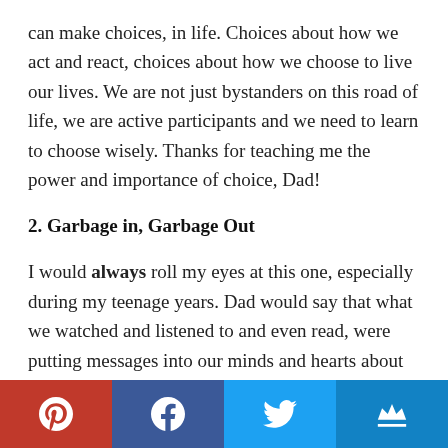can make choices, in life. Choices about how we act and react, choices about how we choose to live our lives. We are not just bystanders on this road of life, we are active participants and we need to learn to choose wisely. Thanks for teaching me the power and importance of choice, Dad!
2. Garbage in, Garbage Out
I would always roll my eyes at this one, especially during my teenage years. Dad would say that what we watched and listened to and even read, were putting messages into our minds and hearts about life. And if those messages were garbage –
[Figure (other): Social media share bar with Pinterest (red), Facebook (dark blue), Twitter (light blue), and a crown/bookmark icon (blue) buttons]